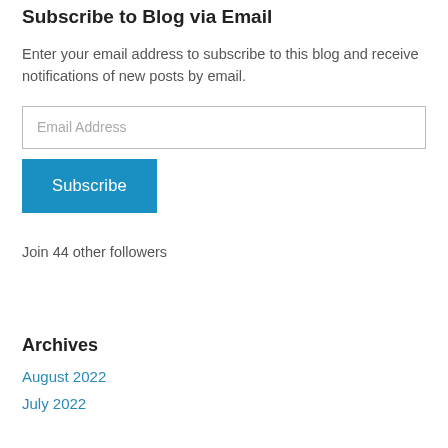Subscribe to Blog via Email
Enter your email address to subscribe to this blog and receive notifications of new posts by email.
Email Address
Subscribe
Join 44 other followers
Archives
August 2022
July 2022